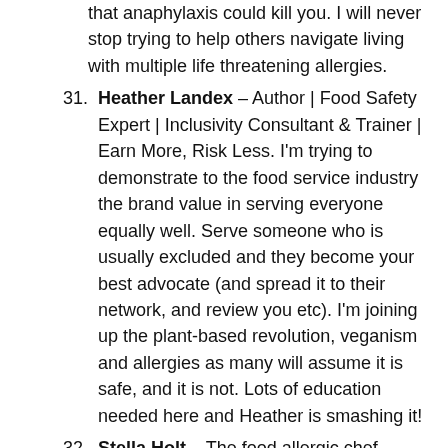that anaphylaxis could kill you. I will never stop trying to help others navigate living with multiple life threatening allergies.
31. Heather Landex – Author | Food Safety Expert | Inclusivity Consultant & Trainer | Earn More, Risk Less. I'm trying to demonstrate to the food service industry the brand value in serving everyone equally well. Serve someone who is usually excluded and they become your best advocate (and spread it to their network, and review you etc). I'm joining up the plant-based revolution, veganism and allergies as many will assume it is safe, and it is not. Lots of education needed here and Heather is smashing it!
32. Stella Holt – The food allergic chef. Helping the hospitality industry provide confidence and excellent service for food allergic customers. Stella provides advice, training and support to